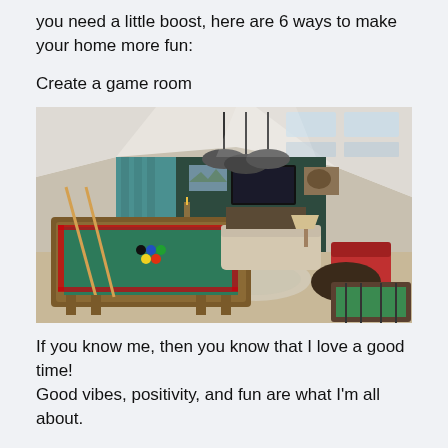you need a little boost, here are 6 ways to make your home more fun:
Create a game room
[Figure (photo): Interior photo of a home game room in an attic space with angled ceilings. Features a pool/billiards table with green felt in the center, pendant lights hanging above, teal/green accent walls, a sofa and seating area in the background, a wall-mounted TV, and a foosball table in the bottom right corner.]
If you know me, then you know that I love a good time! Good vibes, positivity, and fun are what I'm all about.